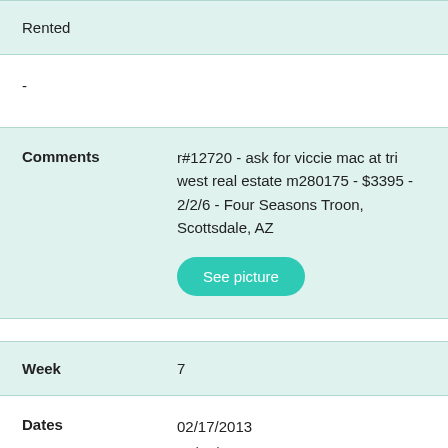Rented
-
| Comments |  |
| --- | --- |
| Comments | r#12720 - ask for viccie mac at tri west real estate m280175 - $3395 - 2/2/6 - Four Seasons Troon, Scottsdale, AZ |
| Week | 7 |
| --- | --- |
| Dates |  |
| --- | --- |
| Dates | 02/17/2013
02/24/2013 |
| Unit | 2 Bedroom |
| --- | --- |